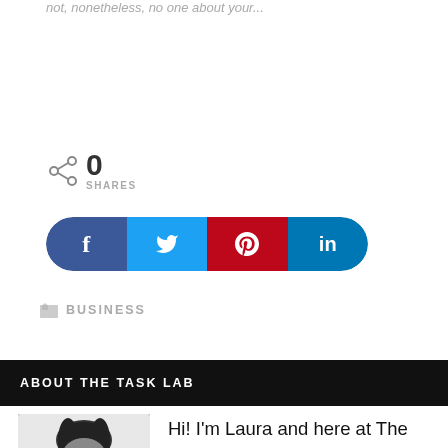not, nonetheless, no one about your...
0
SHARES
[Figure (infographic): Social share buttons row: Facebook (dark blue), Twitter (light blue), Pinterest (red), LinkedIn (teal), all pill-shaped]
BUSINESS
ABOUT THE TASK LAB
[Figure (photo): Photo of a dark-haired person, cropped portrait, dark background]
Hi! I'm Laura and here at The Task Lab we are all about organization,